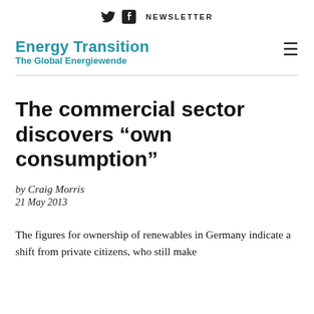🐦 f  NEWSLETTER
Energy Transition
The Global Energiewende
The commercial sector discovers "own consumption"
by Craig Morris
21 May 2013
The figures for ownership of renewables in Germany indicate a shift from private citizens, who still make